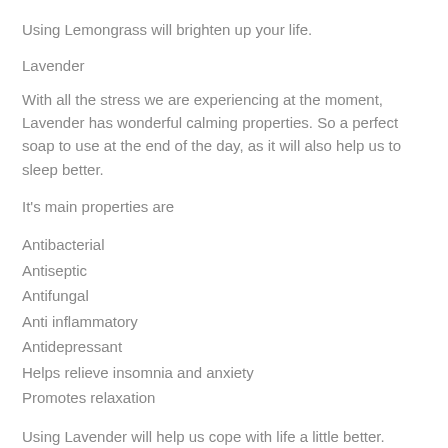Using Lemongrass will brighten up your life.
Lavender
With all the stress we are experiencing at the moment, Lavender has wonderful calming properties. So a perfect soap to use at the end of the day, as it will also help us to sleep better.
It's main properties are
Antibacterial
Antiseptic
Antifungal
Anti inflammatory
Antidepressant
Helps relieve insomnia and anxiety
Promotes relaxation
Using Lavender will help us cope with life a little better.
Tea Tree.